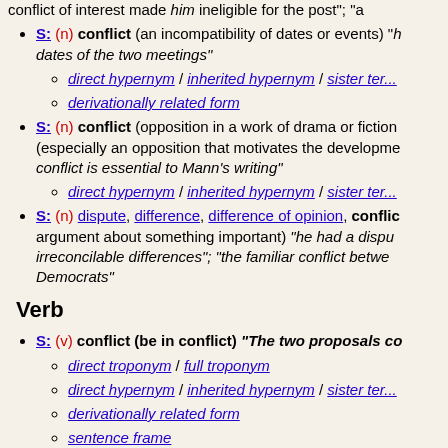S: (n) conflict (an incompatibility of dates or events) "he noticed a conflict in the dates of the two meetings"
direct hypernym / inherited hypernym / sister term
derivationally related form
S: (n) conflict (opposition in a work of drama or fiction) (especially an opposition that motivates the development of the plot) "conflict is essential to Mann's writing"
direct hypernym / inherited hypernym / sister term
S: (n) dispute, difference, difference of opinion, conflict (a disagreement or argument about something important) "he had a dispute with his wife"; "there were irreconcilable differences"; "the familiar conflict between Republicans and Democrats"
Verb
S: (v) conflict (be in conflict) "The two proposals conflict!"
direct troponym / full troponym
direct hypernym / inherited hypernym / sister term
derivationally related form
sentence frame
S: (v) conflict, run afoul, infringe, contravene (go against, as of rules and laws) "He ran afoul of the law"; "This behavior conflicts with our r..."